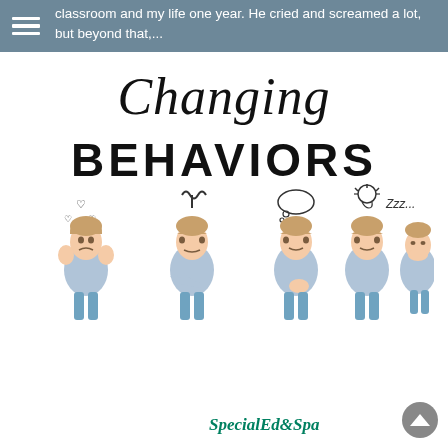classroom and my life one year. He cried and screamed a lot, but beyond that,...
[Figure (illustration): Decorative graphic showing 'Changing Behaviors' text logo in stylized typography, with the word 'Changing' in script/italic style and 'BEHAVIORS' in bold decorated block letters. Below the text are five images of the same young girl in a blue shirt displaying different emotional states (distressed, angry, thinking, curious, sleeping/bored), each with a corresponding doodle icon above her head (hearts, scribble, thought bubble, lightbulb, ZZZs). The bottom right corner shows the 'SpecialEdSpa' watermark in teal italic text.]